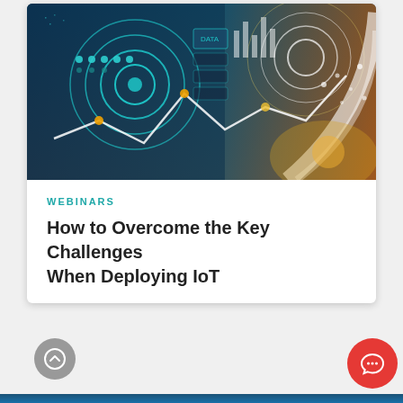[Figure (photo): Technology background image showing digital data visualization with circular target graphics, glowing line charts, data graphs, and connected nodes on a dark blue and orange/gold background, representing IoT and data analytics themes.]
WEBINARS
How to Overcome the Key Challenges When Deploying IoT